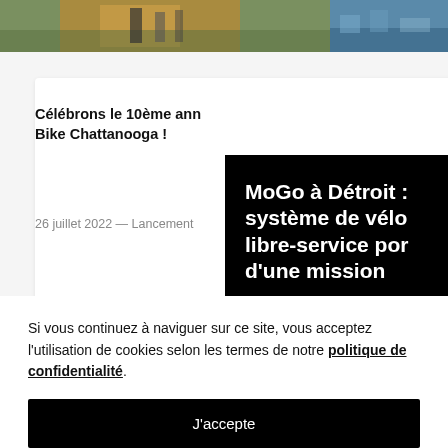[Figure (photo): Two photo thumbnails at the top of the page: left shows street/urban scene with people, right shows a waterfront or harbor scene.]
Célébrons le 10ème ann Bike Chattanooga !
26 juillet 2022 — Lancement
MoGo à Détroit : système de vélo libre-service por d'une mission
En savoir plus
Si vous continuez à naviguer sur ce site, vous acceptez l'utilisation de cookies selon les termes de notre politique de confidentialité.
J'accepte